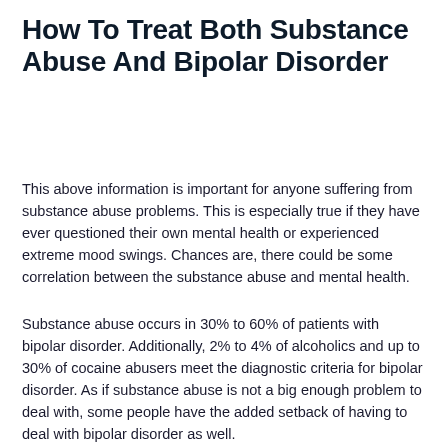How To Treat Both Substance Abuse And Bipolar Disorder
This above information is important for anyone suffering from substance abuse problems. This is especially true if they have ever questioned their own mental health or experienced extreme mood swings. Chances are, there could be some correlation between the substance abuse and mental health.
Substance abuse occurs in 30% to 60% of patients with bipolar disorder. Additionally, 2% to 4% of alcoholics and up to 30% of cocaine abusers meet the diagnostic criteria for bipolar disorder. As if substance abuse is not a big enough problem to deal with, some people have the added setback of having to deal with bipolar disorder as well.